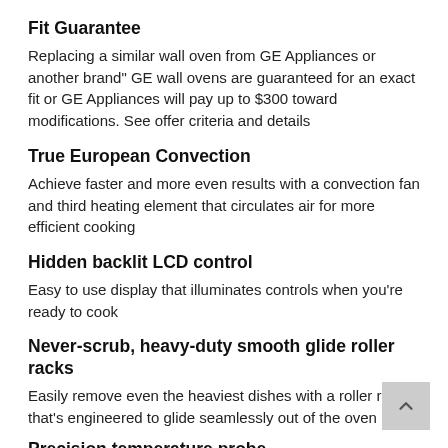Fit Guarantee
Replacing a similar wall oven from GE Appliances or another brand" GE wall ovens are guaranteed for an exact fit or GE Appliances will pay up to $300 toward modifications. See offer criteria and details
True European Convection
Achieve faster and more even results with a convection fan and third heating element that circulates air for more efficient cooking
Hidden backlit LCD control
Easy to use display that illuminates controls when you're ready to cook
Never-scrub, heavy-duty smooth glide roller racks
Easily remove even the heaviest dishes with a roller rack that's engineered to glide seamlessly out of the oven
Precision temperature probe